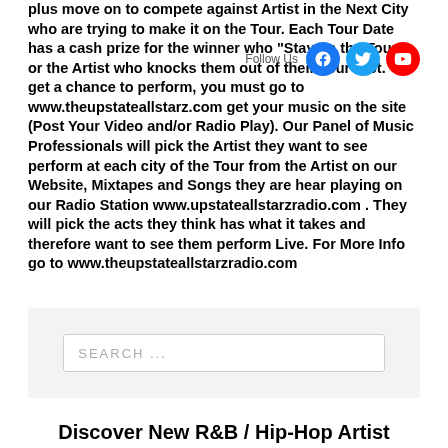plus move on to compete against Artist in the Next City who are trying to make it on the Tour. Each Tour Date has a cash prize for the winner who "Stay on the Tour" or the Artist who knocks them out of their Tour Slot. *To get a chance to perform, you must go to www.theupstateallstarz.com get your music on the site (Post Your Video and/or Radio Play). Our Panel of Music Professionals will pick the Artist they want to see perform at each city of the Tour from the Artist on our Website, Mixtapes and Songs they are hear playing on our Radio Station www.upstateallstarzradio.com . They will pick the acts they think has what it takes and therefore want to see them perform Live. For More Info go to www.theupstateallstarzradio.com
[Figure (infographic): Follow Us social media icons: Facebook (blue), Twitter (blue), YouTube (red)]
[Figure (screenshot): Search box with placeholder text 'SEARCH ...' on a light grey background]
Discover New R&B / Hip-Hop Artist